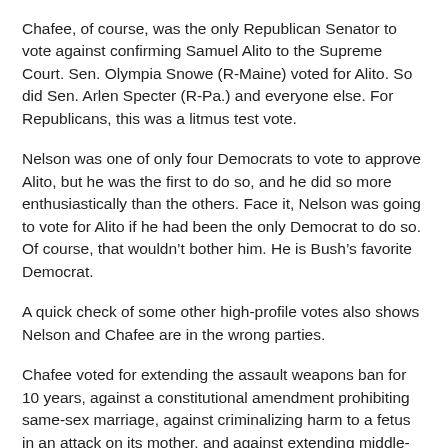Chafee, of course, was the only Republican Senator to vote against confirming Samuel Alito to the Supreme Court. Sen. Olympia Snowe (R-Maine) voted for Alito. So did Sen. Arlen Specter (R-Pa.) and everyone else. For Republicans, this was a litmus test vote.
Nelson was one of only four Democrats to vote to approve Alito, but he was the first to do so, and he did so more enthusiastically than the others. Face it, Nelson was going to vote for Alito if he had been the only Democrat to do so. Of course, that wouldn’t bother him. He is Bush’s favorite Democrat.
A quick check of some other high-profile votes also shows Nelson and Chafee are in the wrong parties.
Chafee voted for extending the assault weapons ban for 10 years, against a constitutional amendment prohibiting same-sex marriage, against criminalizing harm to a fetus in an attack on its mother, and against extending middle-class tax breaks. Nelson was on the opposite side on each vote.